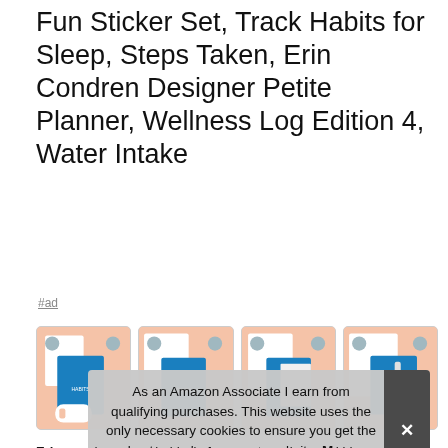Fun Sticker Set, Track Habits for Sleep, Steps Taken, Erin Condren Designer Petite Planner, Wellness Log Edition 4, Water Intake
#ad
[Figure (photo): Four product thumbnail images of Erin Condren Wellness Planner set arranged in a row, each showing the planner and sticker accessories on a peach/salmon background.]
As an Amazon Associate I earn from qualifying purchases. This website uses the only necessary cookies to ensure you get the best experience on our website. More information
Erin ... and ... rece ... hold all of your notes, plans and ideas.